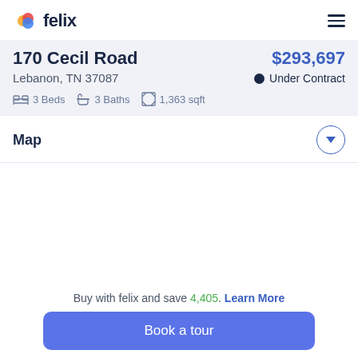felix
170 Cecil Road
$293,697
Lebanon, TN 37087
Under Contract
3 Beds  3 Baths  1,363 sqft
Map
[Figure (map): Map area placeholder showing property location]
Buy with felix and save 4,405. Learn More
Book a tour